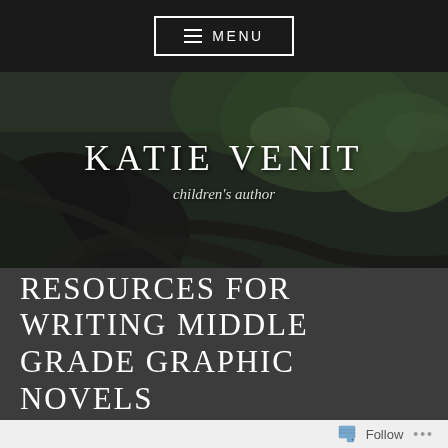≡ MENU
[Figure (photo): Forest floor photo showing large tree roots and green foliage in background, overlaid with text 'KATIE VENIT' and 'children's author']
KATIE VENIT
children's author
RESOURCES FOR WRITING MIDDLE GRADE GRAPHIC NOVELS
Follow ...